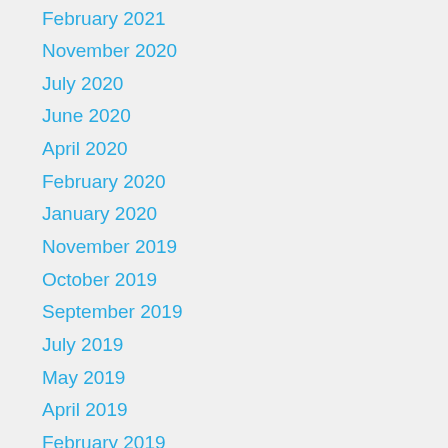February 2021
November 2020
July 2020
June 2020
April 2020
February 2020
January 2020
November 2019
October 2019
September 2019
July 2019
May 2019
April 2019
February 2019
January 2019
December 2018
November 2018
October 2018
September 2018
August 2018
July 2018
June 2018